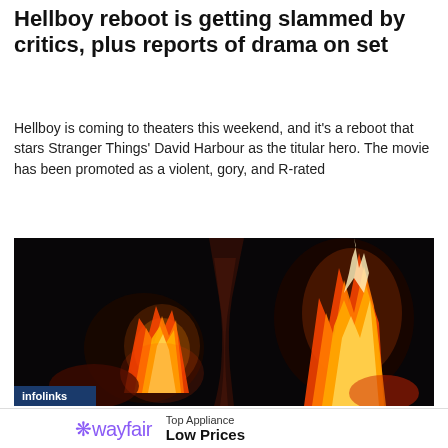Hellboy reboot is getting slammed by critics, plus reports of drama on set
Hellboy is coming to theaters this weekend, and it's a reboot that stars Stranger Things' David Harbour as the titular hero. The movie has been promoted as a violent, gory, and R-rated
[Figure (photo): Hellboy character with large horns and flames — dark promotional image from the Hellboy movie reboot]
infolinks
wayfair  Top Appliance  Low Prices